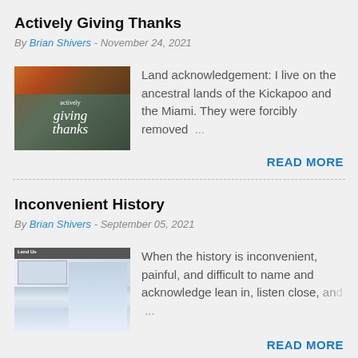Actively Giving Thanks
By Brian Shivers - November 24, 2021
[Figure (photo): Thumbnail image with autumn/thanksgiving theme showing flowers and text 'actively giving thanks']
Land acknowledgement: I live on the ancestral lands of the Kickapoo and the Miami. They were forcibly removed ...
READ MORE
Inconvenient History
By Brian Shivers - September 05, 2021
[Figure (screenshot): Thumbnail screenshot of a webpage titled 'Lend Us' with an image of a frozen landscape]
When the history is inconvenient, painful, and difficult to name and acknowledge lean in, listen close, and ...
READ MORE